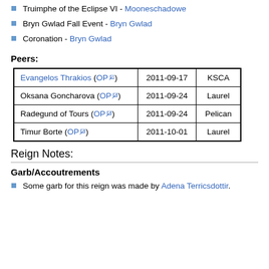Truimphe of the Eclipse VI - Mooneschadowe
Bryn Gwlad Fall Event - Bryn Gwlad
Coronation - Bryn Gwlad
Peers:
|  | Date | Order |
| --- | --- | --- |
| Evangelos Thrakios (OP) | 2011-09-17 | KSCA |
| Oksana Goncharova (OP) | 2011-09-24 | Laurel |
| Radegund of Tours (OP) | 2011-09-24 | Pelican |
| Timur Borte (OP) | 2011-10-01 | Laurel |
Reign Notes:
Garb/Accoutrements
Some garb for this reign was made by Adena Terricsdottir.